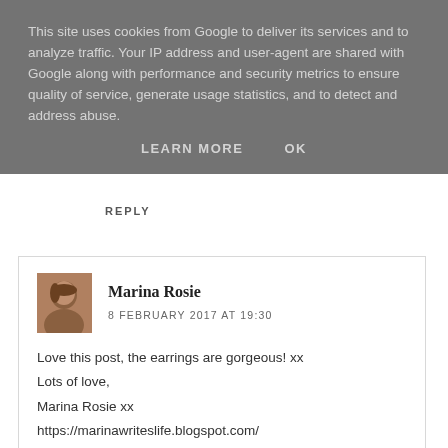This site uses cookies from Google to deliver its services and to analyze traffic. Your IP address and user-agent are shared with Google along with performance and security metrics to ensure quality of service, generate usage statistics, and to detect and address abuse.
LEARN MORE   OK
REPLY
[Figure (photo): Avatar photo of Marina Rosie]
Marina Rosie
8 FEBRUARY 2017 AT 19:30
Love this post, the earrings are gorgeous! xx
Lots of love,
Marina Rosie xx
https://marinawriteslife.blogspot.com/
REPLY